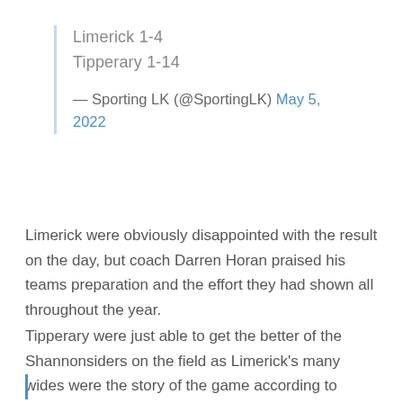Limerick 1-4
Tipperary 1-14

— Sporting LK (@SportingLK) May 5, 2022
Limerick were obviously disappointed with the result on the day, but coach Darren Horan praised his teams preparation and the effort they had shown all throughout the year.
Tipperary were just able to get the better of the Shannonsiders on the field as Limerick's many wides were the story of the game according to Horan.